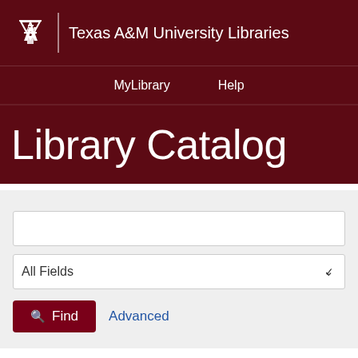Texas A&M University Libraries
MyLibrary | Help
Library Catalog
[Figure (screenshot): Search form with text input, All Fields dropdown selector, Find button, and Advanced link]
An indigenous peoples' history...